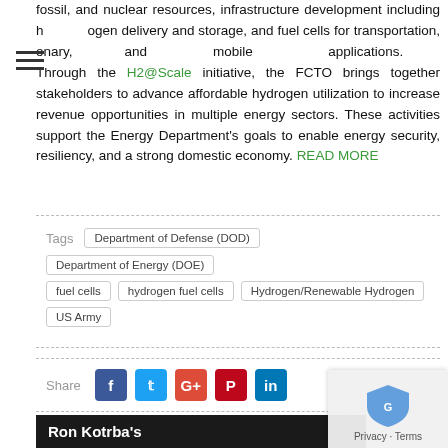fossil, and nuclear resources, infrastructure development including hydrogen delivery and storage, and fuel cells for transportation, stationary, and mobile applications. Through the H2@Scale initiative, the FCTO brings together stakeholders to advance affordable hydrogen utilization to increase revenue opportunities in multiple energy sectors. These activities support the Energy Department's goals to enable energy security, resiliency, and a strong domestic economy. READ MORE
Tags  Department of Defense (DOD)  Department of Energy (DOE)  fuel cells  hydrogen fuel cells  Hydrogen/Renewable Hydrogen  US Army
Share
Comments are closed.
Ron Kotrba's